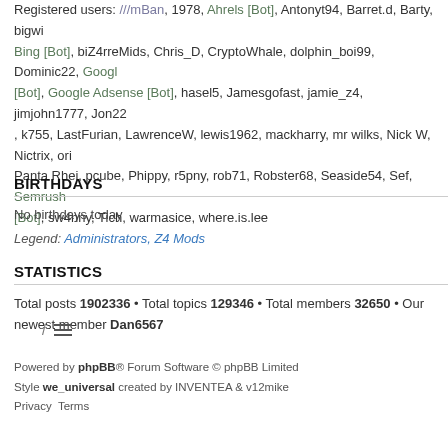Registered users: ///mBan, 1978, Ahrels [Bot], Antonyt94, Barret.d, Barty, bigwin, Bing [Bot], biZ4rreMids, Chris_D, CryptoWhale, dolphin_boi99, Dominic22, Google [Bot], Google Adsense [Bot], hasel5, Jamesgofast, jamie_z4, jimjohn1777, Jon22, k755, LastFurian, LawrenceW, lewis1962, mackharry, mr wilks, Nick W, Nictrix, ori, Panta Rhei, pcube, Phippy, r5pny, rob71, Robster68, Seaside54, Sef, Semrush [Bot], sw4nny, Tich, warmasice, where.is.lee
Legend: Administrators, Z4 Mods
BIRTHDAYS
No birthdays today
STATISTICS
Total posts 1902336 • Total topics 129346 • Total members 32650 • Our newest member Dan6567
Powered by phpBB® Forum Software © phpBB Limited
Style we_universal created by INVENTEA & v12mike
Privacy Terms